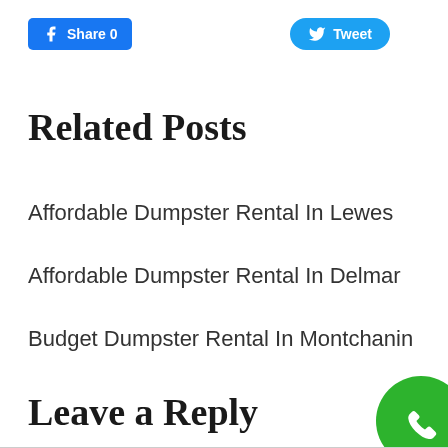[Figure (other): Facebook Share button with count 0 and Twitter Tweet button]
Related Posts
Affordable Dumpster Rental In Lewes
Affordable Dumpster Rental In Delmar
Budget Dumpster Rental In Montchanin
Leave a Reply
[Figure (other): Green circular phone call button in bottom right corner]